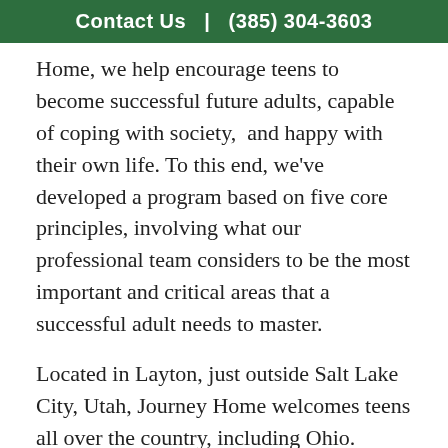Contact Us  |  (385) 304-3603
Home, we help encourage teens to become successful future adults, capable of coping with society,  and happy with their own life. To this end, we've developed a program based on five core principles, involving what our professional team considers to be the most important and critical areas that a successful adult needs to master.
Located in Layton, just outside Salt Lake City, Utah, Journey Home welcomes teens all over the country, including Ohio. According to scientific literature, living in a goal oriented environment